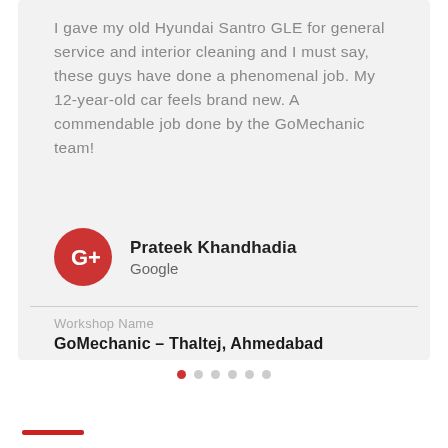I gave my old Hyundai Santro GLE for general service and interior cleaning and I must say, these guys have done a phenomenal job. My 12-year-old car feels brand new. A commendable job done by the GoMechanic team!
Prateek Khandhadia
Google
Workshop Name
GoMechanic - Thaltej, Ahmedabad
[Figure (other): Pagination dots: 6 dots in a row, first dot filled red, remaining grey]